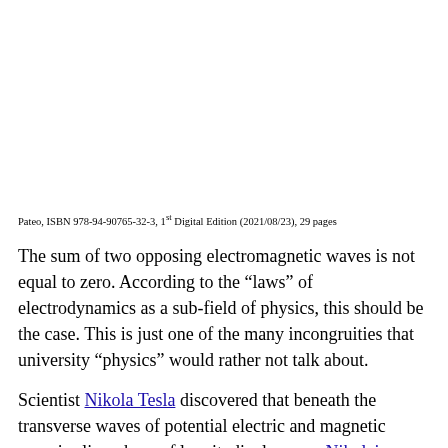Pateo, ISBN 978-94-90765-32-3, 1st Digital Edition (2021/08/23), 29 pages
The sum of two opposing electromagnetic waves is not equal to zero. According to the “laws” of electrodynamics as a sub-field of physics, this should be the case. This is just one of the many incongruities that university “physics” would rather not talk about.
Scientist Nikola Tesla discovered that beneath the transverse waves of potential electric and magnetic energies lies a base of longitudinal waves. Nikolai Kozyrev subsequently named them ‘torsion fields’.
Based on the essence of torsion fields, all-round researcher